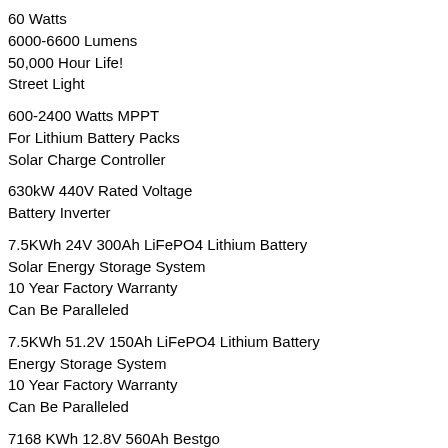60 Watts
6000-6600 Lumens
50,000 Hour Life!
Street Light
600-2400 Watts MPPT
For Lithium Battery Packs
Solar Charge Controller
630kW 440V Rated Voltage
Battery Inverter
7.5KWh 24V 300Ah LiFePO4 Lithium Battery
Solar Energy Storage System
10 Year Factory Warranty
Can Be Paralleled
7.5KWh 51.2V 150Ah LiFePO4 Lithium Battery
Energy Storage System
10 Year Factory Warranty
Can Be Paralleled
7168 KWh 12.8V 560Ah Bestgo
LiFePO4 Lithium Battery Pack with 200A PCB BMS